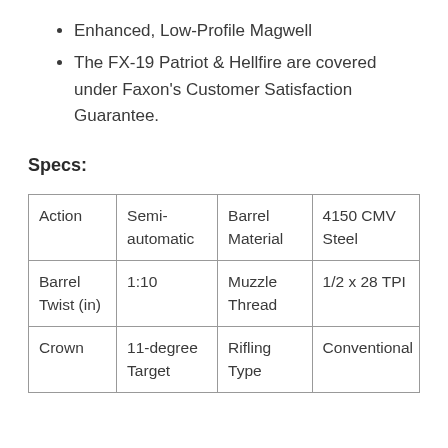Enhanced, Low-Profile Magwell
The FX-19 Patriot & Hellfire are covered under Faxon's Customer Satisfaction Guarantee.
Specs:
| Action | Semi-automatic | Barrel Material | 4150 CMV Steel |
| Barrel Twist (in) | 1:10 | Muzzle Thread | 1/2 x 28 TPI |
| Crown | 11-degree Target | Rifling Type | Conventional |